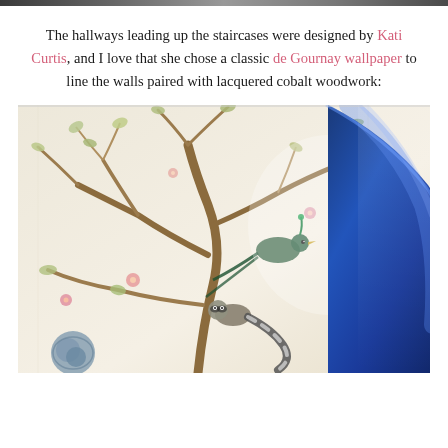[Figure (photo): Top decorative banner/header strip]
The hallways leading up the staircases were designed by Kati Curtis, and I love that she chose a classic de Gournay wallpaper to line the walls paired with lacquered cobalt woodwork:
[Figure (photo): Interior photo showing de Gournay chinoiserie wallpaper with birds and branches on a cream background, and a cobalt blue lacquered furniture piece in the foreground right.]